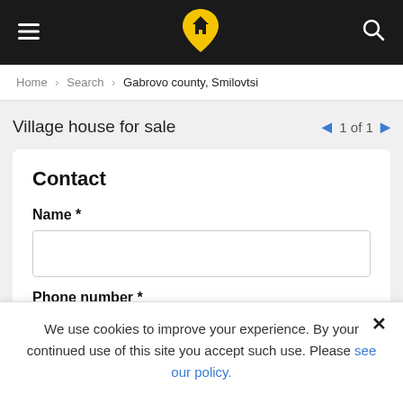Navigation bar with menu icon, logo, and search icon
Home > Search > Gabrovo county, Smilovtsi
Village house for sale
1 of 1
Contact
Name *
Phone number *
We use cookies to improve your experience. By your continued use of this site you accept such use. Please see our policy.